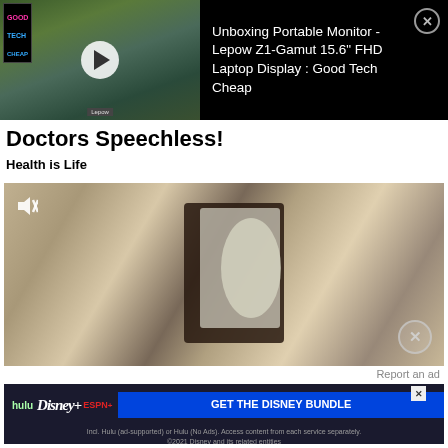[Figure (screenshot): Video ad banner with thumbnail on left showing portable monitor unboxing video with play button overlay and Good Tech Cheap logo. Right side shows white text on black: 'Unboxing Portable Monitor - Lepow Z1-Gamut 15.6" FHD Laptop Display : Good Tech Cheap' with close X button.]
Doctors Speechless!
Health is Life
[Figure (screenshot): Video player showing a close-up of an outdoor wall lantern light fixture mounted on a textured stucco wall. Mute icon visible top-left. Close button bottom-right.]
Report an ad
[Figure (screenshot): Disney Bundle advertisement banner. Shows Hulu, Disney+, ESPN+ logos on left. Blue button with 'GET THE DISNEY BUNDLE' text. Fine print: 'Incl. Hulu (ad-supported) or Hulu (No Ads). Access content from each service separately. ©2021 Disney and its related entities']